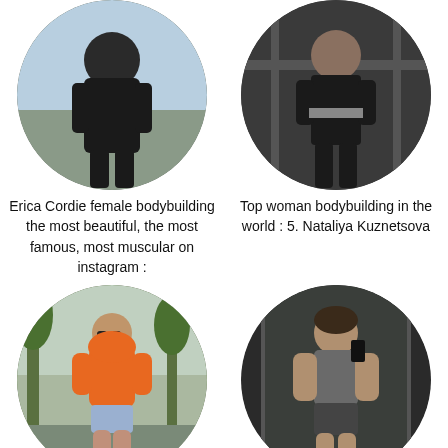[Figure (photo): Circular cropped photo of Erica Cordie, a female bodybuilder, wearing black outfit, posing outdoors near water]
Erica Cordie female bodybuilding the most beautiful, the most famous, most muscular on instagram :
[Figure (photo): Circular cropped photo of Nataliya Kuznetsova, a female bodybuilder, wearing black outfit in a gym]
Top woman bodybuilding in the world : 5. Nataliya Kuznetsova
[Figure (photo): Circular cropped photo of Bakhar Nabieva, a female bodybuilder, wearing orange hoodie and denim shorts, walking outdoors on a rainy day]
Bakhar Nabieva is a female
[Figure (photo): Circular cropped photo of a Russian female bodybuilder taking a mirror selfie in a gym, wearing gray sport outfit]
Russian female bodybuilder